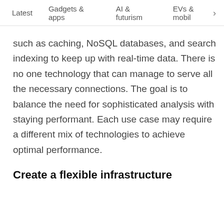Latest  Gadgets & apps  AI & futurism  EVs & mobil >
such as caching, NoSQL databases, and search indexing to keep up with real-time data. There is no one technology that can manage to serve all the necessary connections. The goal is to balance the need for sophisticated analysis with staying performant. Each use case may require a different mix of technologies to achieve optimal performance.
Create a flexible infrastructure